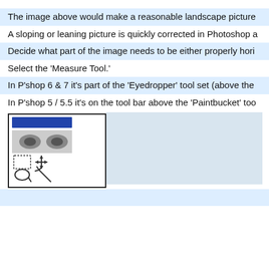The image above would make a reasonable landscape picture
A sloping or leaning picture is quickly corrected in Photoshop a
Decide what part of the image needs to be either properly hori
Select the 'Measure Tool.'
In P'shop 6 & 7 it's part of the 'Eyedropper' tool set (above the
In P'shop 5 / 5.5 it's on the tool bar above the 'Paintbucket' too
[Figure (screenshot): Photoshop toolbox screenshot showing tool icons including selection, move, lasso, and magic wand tools with a blue header bar]